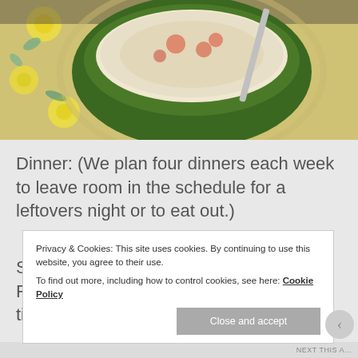[Figure (photo): Photo of a green bowl with soup or food on a floral decorated plate/cloth with yellow and blue flower pattern]
Dinner: (We plan four dinners each week to leave room in the schedule for a leftovers night or to eat out.)
Strawberry Avocado Salad – New Recipe! We learned three things the first time we ate this salad:
Privacy & Cookies: This site uses cookies. By continuing to use this website, you agree to their use.
To find out more, including how to control cookies, see here: Cookie Policy
Close and accept
NEXT THIS A...